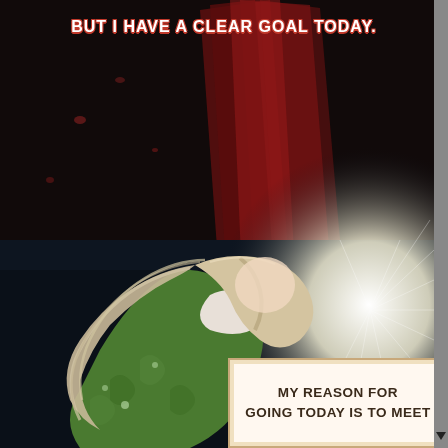[Figure (illustration): Manga/manhwa comic page. Dark background with dramatic red brushstroke streaks in the upper half. A blonde woman with long flowing pink-tinted hair wearing a green floral dress is bowing or leaning forward in the lower half. A bright light emanates from the right side behind her. The scene has a dark, dramatic atmosphere.]
BUT I HAVE A CLEAR GOAL TODAY.
MY REASON FOR GOING TODAY IS TO MEET